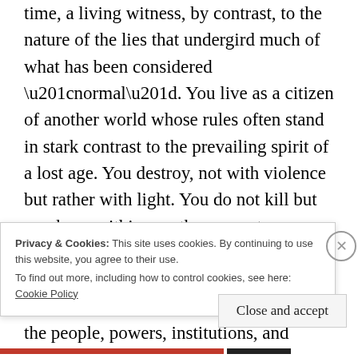time, a living witness, by contrast, to the nature of the lies that undergird much of what has been considered “normal”. You live as a citizen of another world whose rules often stand in stark contrast to the prevailing spirit of a lost age. You destroy, not with violence but rather with light. You do not kill but you have within you the power to transform yourself and others. You are evolving into something that will, over time, look more and more like God and the people, powers, institutions, and principalities that have a vested interest in the world
Privacy & Cookies: This site uses cookies. By continuing to use this website, you agree to their use.
To find out more, including how to control cookies, see here: Cookie Policy